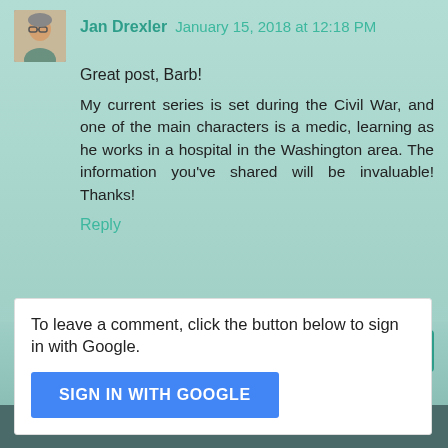Jan Drexler  January 15, 2018 at 12:18 PM
Great post, Barb!
My current series is set during the Civil War, and one of the main characters is a medic, learning as he works in a hospital in the Washington area. The information you've shared will be invaluable! Thanks!
Reply
To leave a comment, click the button below to sign in with Google.
SIGN IN WITH GOOGLE
‹
Home
›
View web version
Powered by Blogger.